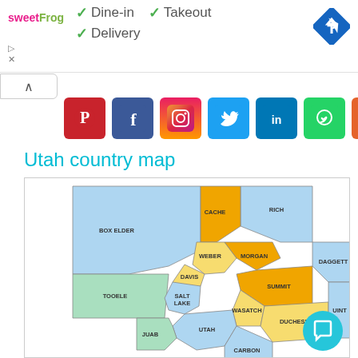[Figure (logo): sweetFrog logo in pink and green text]
✓ Dine-in  ✓ Takeout
✓ Delivery
[Figure (infographic): Blue navigation/directions icon (diamond with arrow)]
[Figure (infographic): Social share icons: Pinterest, Facebook, Instagram, Twitter, LinkedIn, WhatsApp, Add]
Utah country map
[Figure (map): Utah county map showing counties including Box Elder, Cache, Rich, Weber, Morgan, Davis, Salt Lake, Summit, Daggett, Tooele, Wasatch, Duchesne, Uinta, Utah, Juab, Carbon counties colored in blue, orange, yellow, and green]